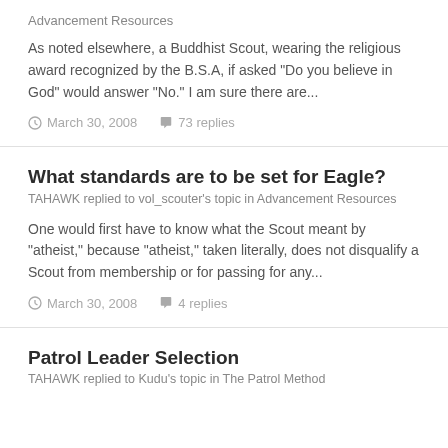Advancement Resources
As noted elsewhere, a Buddhist Scout, wearing the religious award recognized by the B.S.A, if asked "Do you believe in God" would answer "No." I am sure there are...
March 30, 2008  73 replies
What standards are to be set for Eagle?
TAHAWK replied to vol_scouter's topic in Advancement Resources
One would first have to know what the Scout meant by "atheist," because "atheist," taken literally, does not disqualify a Scout from membership or for passing for any...
March 30, 2008  4 replies
Patrol Leader Selection
TAHAWK replied to Kudu's topic in The Patrol Method